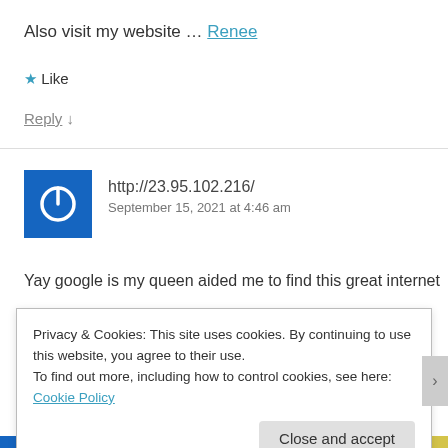Also visit my website … Renee
★ Like
Reply ↓
[Figure (logo): Blue square icon with white power/on symbol (circle with line at top)]
http://23.95.102.216/
September 15, 2021 at 4:46 am
Yay google is my queen aided me to find this great internet
Privacy & Cookies: This site uses cookies. By continuing to use this website, you agree to their use.
To find out more, including how to control cookies, see here: Cookie Policy
Close and accept